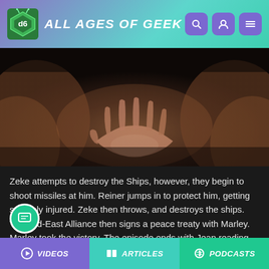ALL AGES OF GEEK
[Figure (photo): Close-up photo of a hand held open, dramatically lit against a dark background with two figures visible at the sides]
Zeke attempts to destroy the Ships, however, they begin to shoot missiles at him. Reiner jumps in to protect him, getting severely injured. Zeke then throws, and destroys the ships. The Mid-East Alliance then signs a peace treaty with Marley. Marley took the victory. The episode ends with Jean reading the newspaper about the war.
[Figure (photo): Dark screenshot from an anime or media with a dark background, partially visible]
VIDEOS   ARTICLES   PODCASTS